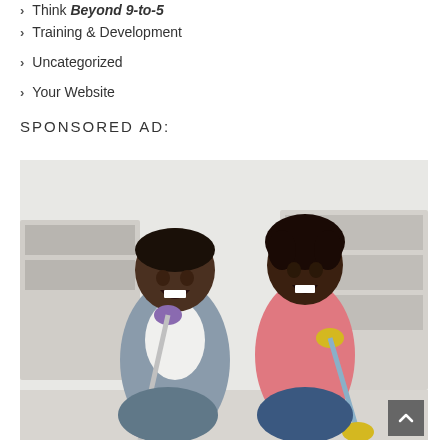Think Beyond 9-to-5
Training & Development
Uncategorized
Your Website
SPONSORED AD:
[Figure (photo): A man and a woman laughing and singing while holding mops and wearing cleaning gloves in a bright home interior. The man wears a grey shirt and purple gloves; the woman wears a pink top and yellow gloves.]